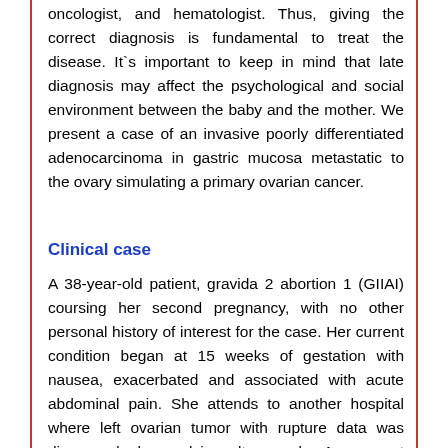oncologist, and hematologist. Thus, giving the correct diagnosis is fundamental to treat the disease. It`s important to keep in mind that late diagnosis may affect the psychological and social environment between the baby and the mother. We present a case of an invasive poorly differentiated adenocarcinoma in gastric mucosa metastatic to the ovary simulating a primary ovarian cancer.
Clinical case
A 38-year-old patient, gravida 2 abortion 1 (GIIAI) coursing her second pregnancy, with no other personal history of interest for the case. Her current condition began at 15 weeks of gestation with nausea, exacerbated and associated with acute abdominal pain.  She attends to another hospital where left ovarian tumor with rupture data was diagnosed by pelvic ultrasound. An urgent exploratory laparotomy was practiced, they reported the presence of hemoperitoneum of approximately 1000 milliliters and decided to perform left